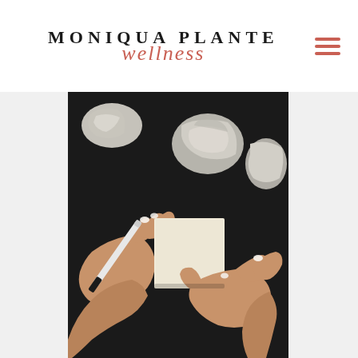MONIQUA PLANTE wellness
[Figure (photo): Overhead view of two hands on a dark background. One hand holds a black marker pen, the other steadies a small blank sticky note or notepad. Several crumpled white pieces of paper are scattered in the upper portion of the image.]